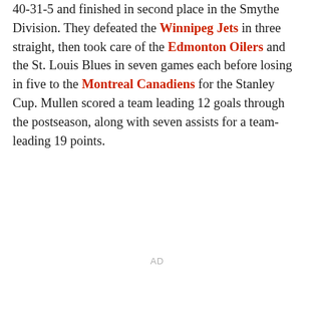40-31-5 and finished in second place in the Smythe Division. They defeated the Winnipeg Jets in three straight, then took care of the Edmonton Oilers and the St. Louis Blues in seven games each before losing in five to the Montreal Canadiens for the Stanley Cup. Mullen scored a team leading 12 goals through the postseason, along with seven assists for a team-leading 19 points.
AD